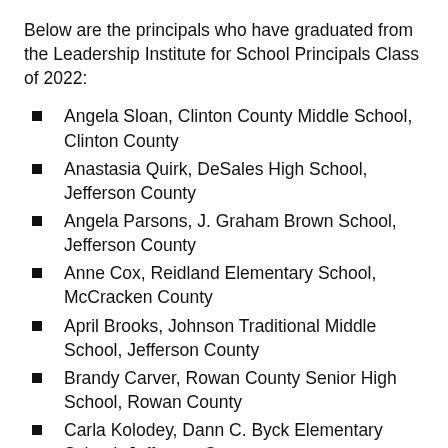Below are the principals who have graduated from the Leadership Institute for School Principals Class of 2022:
Angela Sloan, Clinton County Middle School, Clinton County
Anastasia Quirk, DeSales High School, Jefferson County
Angela Parsons, J. Graham Brown School, Jefferson County
Anne Cox, Reidland Elementary School, McCracken County
April Brooks, Johnson Traditional Middle School, Jefferson County
Brandy Carver, Rowan County Senior High School, Rowan County
Carla Kolodey, Dann C. Byck Elementary School, Jefferson County
Carolyn Smith, Farnsley Middle School,